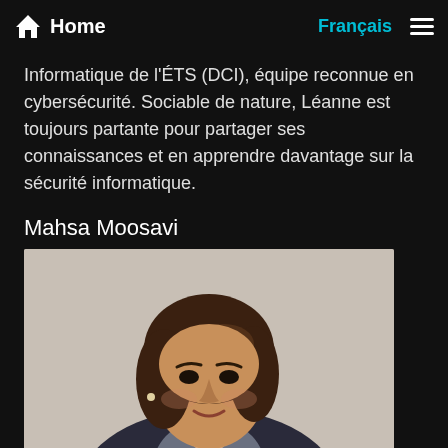Home  Français ☰
Informatique de l'ÉTS (DCI), équipe reconnue en cybersécurité. Sociable de nature, Léanne est toujours partante pour partager ses connaissances et en apprendre davantage sur la sécurité informatique.
Mahsa Moosavi
[Figure (photo): Headshot photo of Mahsa Moosavi, a woman with shoulder-length brown hair wearing a dark blazer, smiling against a neutral grey background.]